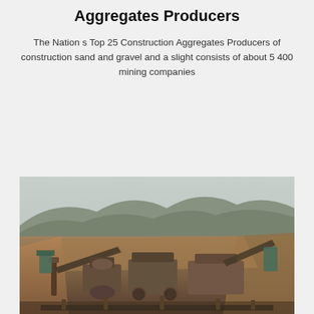Aggregates Producers
The Nation s Top 25 Construction Aggregates Producers of construction sand and gravel and a slight consists of about 5 400 mining companies
[Figure (photo): Aerial/elevated view of an open-pit mining or quarry operation with large earth-moving machinery, conveyor belts, and excavation equipment in a dusty, brown terrain with hills and overcast sky in the background.]